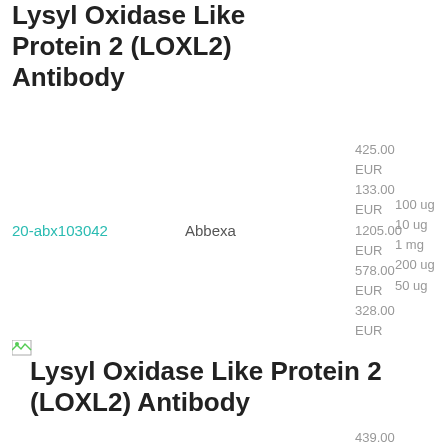Lysyl Oxidase Like Protein 2 (LOXL2) Antibody
20-abx103042
Abbexa
425.00 EUR 133.00 EUR 1205.00 EUR 578.00 EUR 328.00 EUR
100 ug 10 ug 1 mg 200 ug 50 ug
[Figure (illustration): Small broken image icon placeholder]
Lysyl Oxidase Like Protein 2 (LOXL2) Antibody
439.00